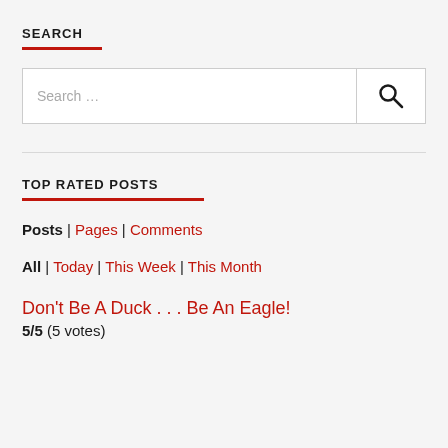SEARCH
[Figure (screenshot): Search input box with placeholder text 'Search ...' and a search icon button on the right]
TOP RATED POSTS
Posts | Pages | Comments
All | Today | This Week | This Month
Don't Be A Duck . . . Be An Eagle!
5/5 (5 votes)